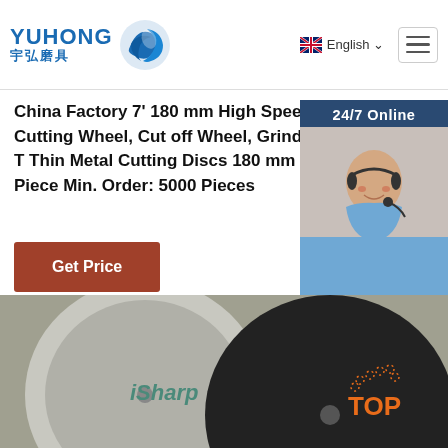[Figure (logo): Yuhong logo with blue wave icon and Chinese characters 宇弘磨具]
English
China Factory 7' 180 mm High Speed Cutting Disc, Cutting Wheel, Cut off Wheel, Grinding Wheel New T Thin Metal Cutting Discs 180 mm FOB Price 0.4 Piece Min. Order: 5000 Pieces
Get Price
[Figure (photo): Customer service representative with headset. 24/7 Online chat widget with 'Click here for free chat!' and QUOTATION button.]
[Figure (photo): Two cutting/grinding discs - one showing iSharp brand label, one large black disc, with TOP button overlay]